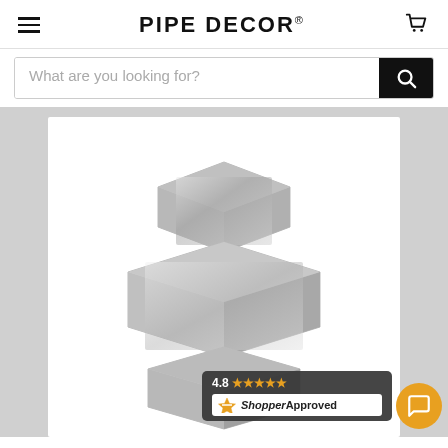PIPE DECOR
What are you looking for?
[Figure (photo): A galvanized steel pipe union fitting, metallic silver color, showing the multi-faceted hex nut body of the union connector on a white background.]
4.8 ★★★★★
ShopperApproved